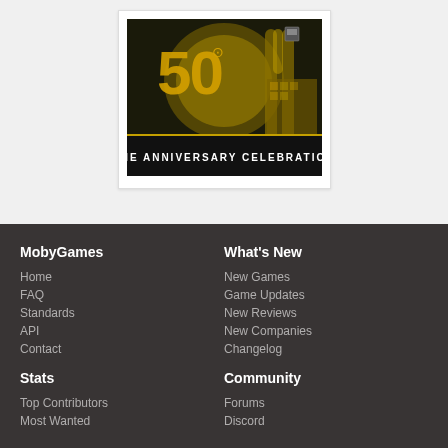[Figure (photo): Atari 50th Anniversary Celebration promotional image showing golden '50' text with Atari logo and the text 'THE ANNIVERSARY CELEBRATION' on a black banner]
MobyGames
Home
FAQ
Standards
API
Contact
Stats
Top Contributors
Most Wanted
What's New
New Games
Game Updates
New Reviews
New Companies
Changelog
Community
Forums
Discord